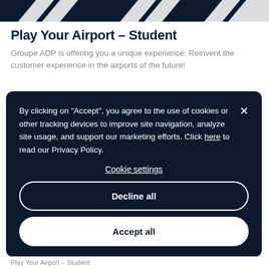[Figure (other): Dark navy decorative header bar with diagonal white chevron/arrow shapes pointing right]
Play Your Airport – Student
Groupe ADP is offering you a unique experience: Reinvent the customer experience in the airports of the future!
By clicking on "Accept", you agree to the use of cookies or other tracking devices to improve site navigation, analyze site usage, and support our marketing efforts. Click here to read our Privacy Policy.

Cookie settings

Decline all

Accept all
Play Your Airport – Student